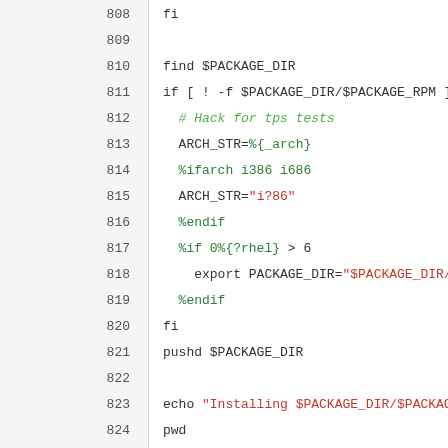[Figure (screenshot): Source code listing lines 808-832 of a shell/RPM spec script with line numbers in left gutter. Lines contain shell commands and RPM macros in green and red syntax highlighting.]